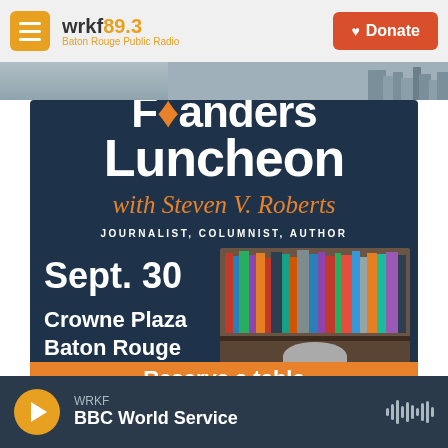wrkf89.3 Baton Rouge Public Radio | Donate
[Figure (screenshot): WRKF Founders Luncheon promotional event poster with Steven V. Roberts, journalist, columnist, author. Event on Sept. 30 at Crowne Plaza Baton Rouge. Includes photo of Steven V. Roberts seated in front of bookshelves.]
WRKF | BBC World Service